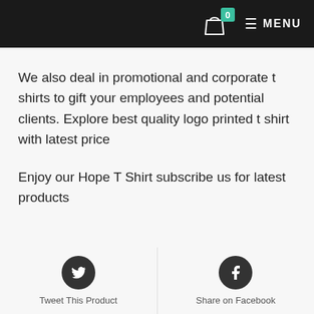[Figure (screenshot): E-commerce website header with shopping bag icon, badge showing 0, and MENU button on black background]
We also deal in promotional and corporate t shirts to gift your employees and potential clients. Explore best quality logo printed t shirt with latest price
Enjoy our Hope T Shirt subscribe us for latest products
[Figure (infographic): Two social share buttons side by side: Tweet This Product (Twitter bird icon) and Share on Facebook (Facebook f icon)]